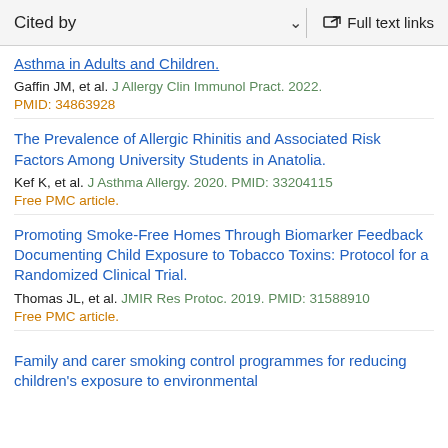Cited by   ∨   Full text links
Asthma in Adults and Children.
Gaffin JM, et al. J Allergy Clin Immunol Pract. 2022.
PMID: 34863928
The Prevalence of Allergic Rhinitis and Associated Risk Factors Among University Students in Anatolia.
Kef K, et al. J Asthma Allergy. 2020. PMID: 33204115
Free PMC article.
Promoting Smoke-Free Homes Through Biomarker Feedback Documenting Child Exposure to Tobacco Toxins: Protocol for a Randomized Clinical Trial.
Thomas JL, et al. JMIR Res Protoc. 2019. PMID: 31588910
Free PMC article.
Family and carer smoking control programmes for reducing children's exposure to environmental